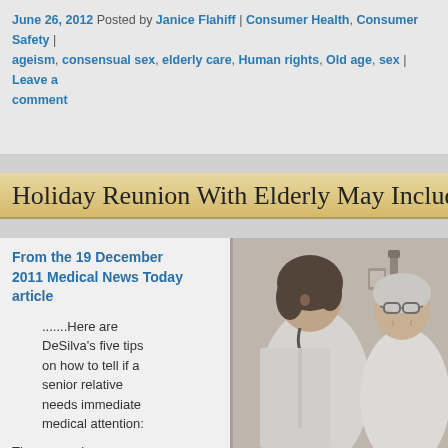June 26, 2012 Posted by Janice Flahiff | Consumer Health, Consumer Safety | ageism, consensual sex, elderly care, Human rights, Old age, sex | Leave a comment
Holiday Reunion With Elderly May Include ER V...
From the 19 December 2011 Medical News Today article
.......Here are DeSilva's five tips on how to tell if a senior relative needs immediate medical attention:
The person is unkempt with poor personal hygiene.
The home is very
[Figure (photo): Black and white photo of a female doctor in white coat with stethoscope smiling and interacting with an elderly male patient wearing glasses, in a medical office setting.]